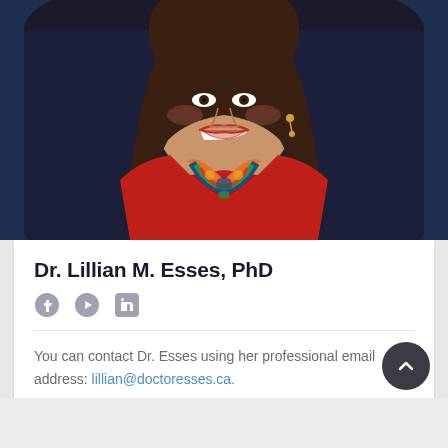[Figure (photo): Professional headshot of Dr. Lillian M. Esses, PhD. A woman with long brown hair wearing a red jacket and a colorful paisley scarf, smiling broadly. She is seated in a dark leather chair against a blue background.]
Dr. Lillian M. Esses, PhD
[Figure (infographic): Social media icons: Facebook, YouTube, LinkedIn]
You can contact Dr. Esses using her professional email address: lillian@doctoresses.ca.